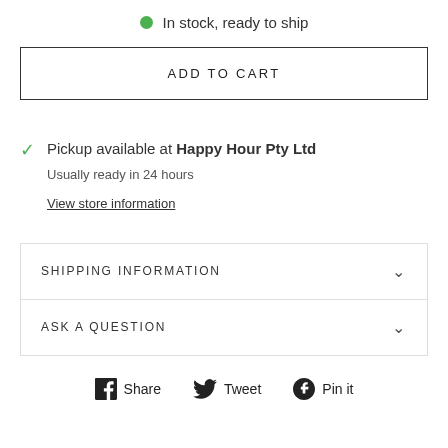In stock, ready to ship
ADD TO CART
Pickup available at Happy Hour Pty Ltd
Usually ready in 24 hours
View store information
SHIPPING INFORMATION
ASK A QUESTION
Share  Tweet  Pin it